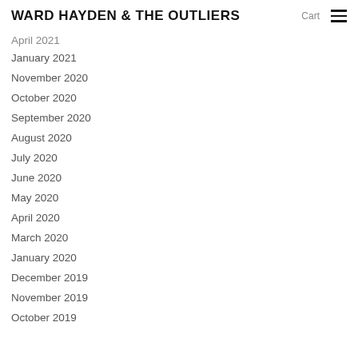WARD HAYDEN & THE OUTLIERS  Cart ☰
April 2021
January 2021
November 2020
October 2020
September 2020
August 2020
July 2020
June 2020
May 2020
April 2020
March 2020
January 2020
December 2019
November 2019
October 2019